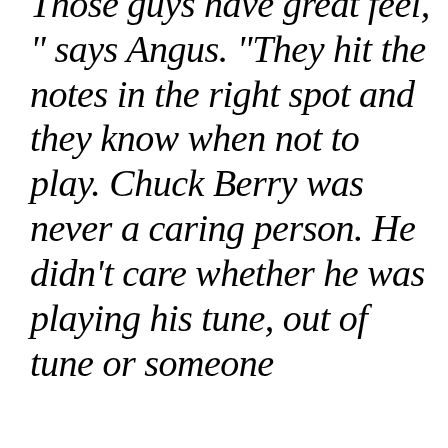Those guys have great feel," says Angus. “They hit the notes in the right spot and they know when not to play. Chuck Berry was never a caring person. He didn’t care whether he was playing his tune, out of tune or someone